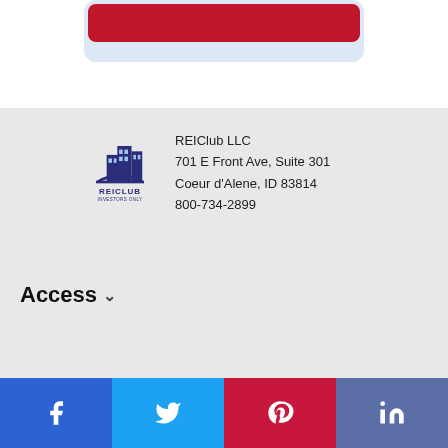[Figure (logo): REIClub logo with blue building illustration and text REICLUB INVESTORS ONLY]
REIClub LLC
701 E Front Ave, Suite 301
Coeur d'Alene, ID 83814
800-734-2899
Access
Community
[Figure (infographic): Social share buttons: Facebook, Twitter, Pinterest, LinkedIn]